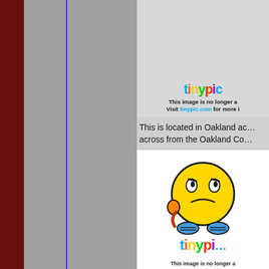[Figure (screenshot): Screenshot of a web page showing two 'tinypic' image-no-longer-available placeholders and a text excerpt reading 'This is located in Oakland ac... across from the Oakland Co...' The left portion shows a gray sidebar with a dark red left edge and a blue vertical line.]
This is located in Oakland ac... across from the Oakland Co...